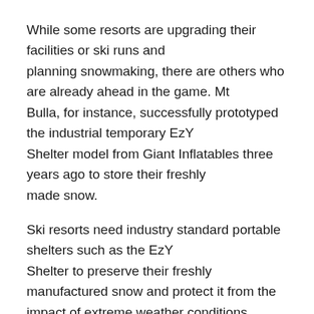While some resorts are upgrading their facilities or ski runs and planning snowmaking, there are others who are already ahead in the game. Mt Bulla, for instance, successfully prototyped the industrial temporary EzY Shelter model from Giant Inflatables three years ago to store their freshly made snow.
Ski resorts need industry standard portable shelters such as the EzY Shelter to preserve their freshly manufactured snow and protect it from the impact of extreme weather conditions, particularly rain. Snowmaking is a time-consuming